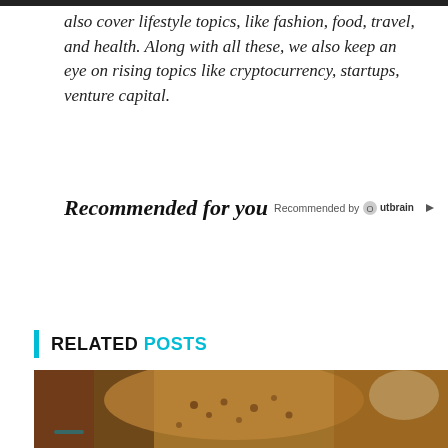also cover lifestyle topics, like fashion, food, travel, and health. Along with all these, we also keep an eye on rising topics like cryptocurrency, startups, venture capital.
Recommended for you  Recommended by Outbrain
RELATED POSTS
[Figure (photo): Close-up photo of a camel's back/hump showing textured brown skin with bumps, decorated with colorful items, in a market or bazaar setting]